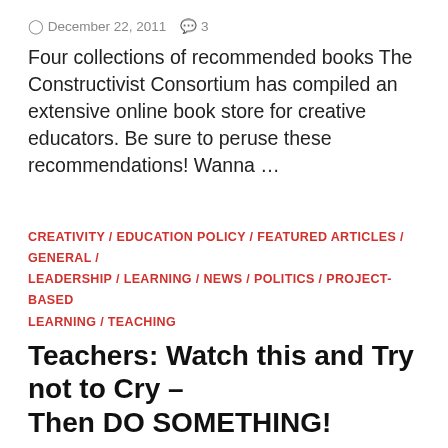December 22, 2011   3
Four collections of recommended books The Constructivist Consortium has compiled an extensive online book store for creative educators. Be sure to peruse these recommendations! Wanna …
CREATIVITY / EDUCATION POLICY / FEATURED ARTICLES / GENERAL / LEADERSHIP / LEARNING / NEWS / POLITICS / PROJECT-BASED LEARNING / TEACHING
Teachers: Watch this and Try not to Cry – Then DO SOMETHING!
April 3, 2011   9
60 Minutes just aired a two-part story that stands in the in great tradition of breathtaking investigative… Th…